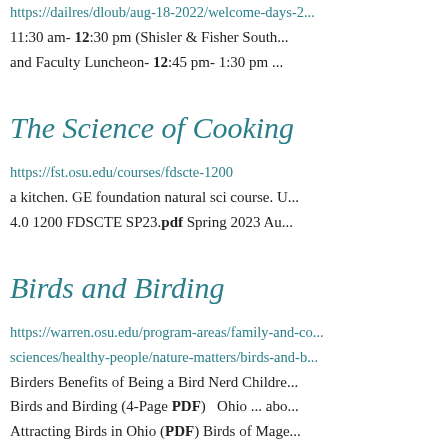https://dailres/dloub/aug-18-2022/welcome-days-2... 11:30 am- 12:30 pm (Shisler & Fisher South... and Faculty Luncheon- 12:45 pm- 1:30 pm ...
The Science of Cooking
https://fst.osu.edu/courses/fdscte-1200
a kitchen. GE foundation natural sci course. U...
4.0 1200 FDSCTE SP23.pdf Spring 2023 Au...
Birds and Birding
https://warren.osu.edu/program-areas/family-and-co... sciences/healthy-people/nature-matters/birds-and-b...
Birders Benefits of Being a Bird Nerd Childre...
Birds and Birding (4-Page PDF)   Ohio ... abo...
Attracting Birds in Ohio (PDF) Birds of Mage...
Checklist (PDF) Birds of... Ohio Field Ckli...